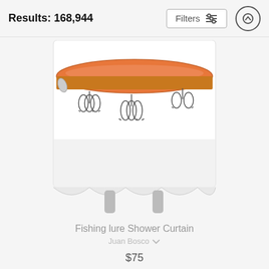Results: 168,944
[Figure (screenshot): Filters button with sliders icon and up-arrow circle button in top bar]
[Figure (photo): A fishing lure shower curtain product displayed on a curtain rod stand. The curtain shows a fishing lure with orange top and silver hooks against a white background.]
Fishing lure Shower Curtain
Juan Bosco
$75